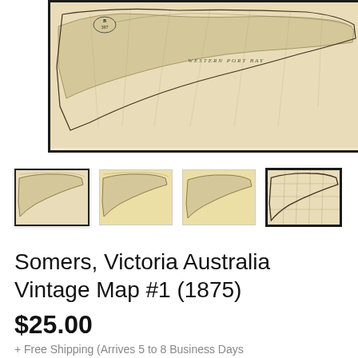[Figure (map): Vintage framed map of Somers, Victoria Australia (1875), sepia-toned with black frame, showing coastal peninsula]
[Figure (map): Thumbnail 1 (selected): Same vintage map with black border, selected state]
[Figure (map): Thumbnail 2: Same vintage map, unbordered]
[Figure (map): Thumbnail 3: Same vintage map, unbordered]
[Figure (map): Thumbnail 4: Close-up of map with black frame border]
Somers, Victoria Australia Vintage Map #1 (1875)
$25.00
+ Free Shipping (Arrives 5 to 8 Business Days